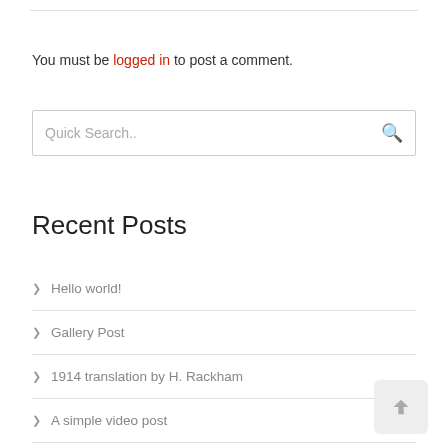You must be logged in to post a comment.
[Figure (screenshot): Quick Search input box with search icon]
Recent Posts
Hello world!
Gallery Post
1914 translation by H. Rackham
A simple video post
1914 Translation by H. Rackham